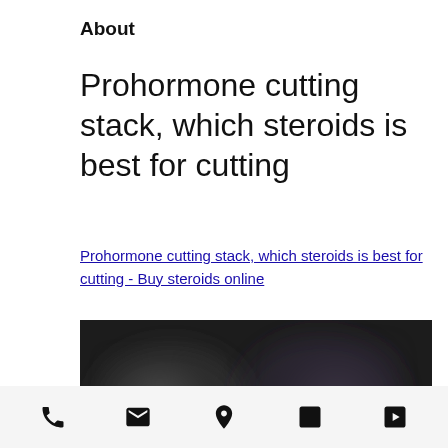About
Prohormone cutting stack, which steroids is best for cutting
Prohormone cutting stack, which steroids is best for cutting - Buy steroids online
[Figure (photo): Dark blurred image, likely showing a person or gym-related scene]
Navigation bar with icons: phone, email, location, facebook, play